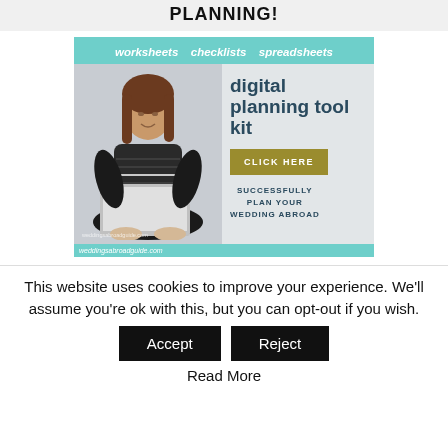PLANNING!
[Figure (infographic): Advertisement banner for a digital planning tool kit for weddings abroad. Top teal bar reads 'worksheets checklists spreadsheets'. Main area shows a woman sitting cross-legged with a laptop on a grey background. Right side text says 'digital planning tool kit' with a 'CLICK HERE' olive-gold button and 'SUCCESSFULLY PLAN YOUR WEDDING ABROAD' text. Bottom teal bar shows 'weddingsabroadguide.com'.]
This website uses cookies to improve your experience. We'll assume you're ok with this, but you can opt-out if you wish.
Accept
Reject
Read More